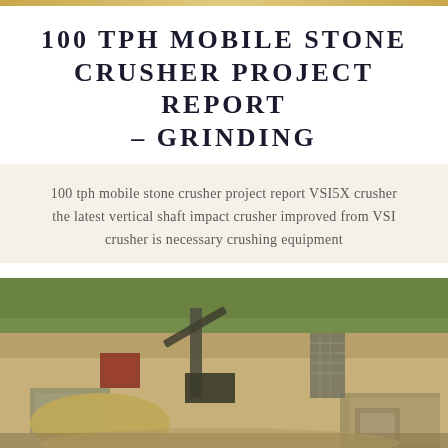100 TPH MOBILE STONE CRUSHER PROJECT REPORT – GRINDING
100 tph mobile stone crusher project report VSI5X crusher the latest vertical shaft impact crusher improved from VSI crusher is necessary crushing equipment
[Figure (photo): Outdoor photo of a mobile stone crusher construction site showing heavy machinery, conveyor equipment, and piles of crushed stone/gravel with green vegetation in the background.]